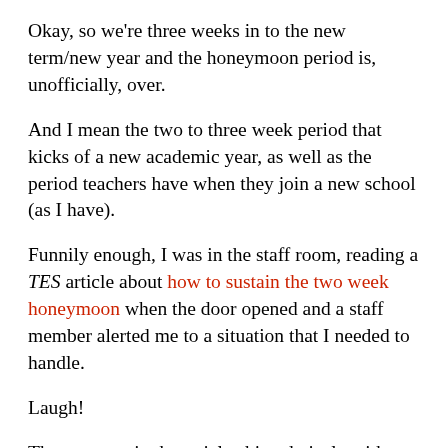Okay, so we're three weeks in to the new term/new year and the honeymoon period is, unofficially, over.
And I mean the two to three week period that kicks of a new academic year, as well as the period teachers have when they join a new school (as I have).
Funnily enough, I was in the staff room, reading a TES article about how to sustain the two week honeymoon when the door opened and a staff member alerted me to a situation that I needed to handle.
Laugh!
The message in the article chimed nicely with my optimistic personality. It advised keeping the positivity and rewards coming in the face of chalk-face reality.
Seems to me the only way. Choosing the negative and the